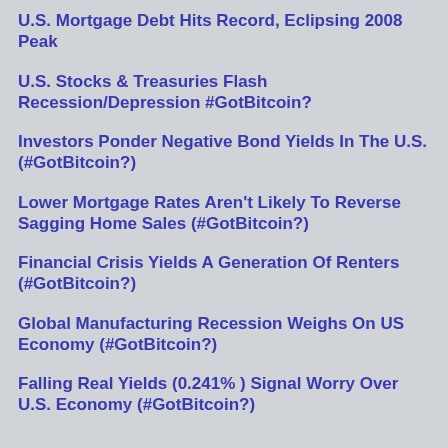U.S. Mortgage Debt Hits Record, Eclipsing 2008 Peak
U.S. Stocks & Treasuries Flash Recession/Depression #GotBitcoin?
Investors Ponder Negative Bond Yields In The U.S. (#GotBitcoin?)
Lower Mortgage Rates Aren't Likely To Reverse Sagging Home Sales (#GotBitcoin?)
Financial Crisis Yields A Generation Of Renters (#GotBitcoin?)
Global Manufacturing Recession Weighs On US Economy (#GotBitcoin?)
Falling Real Yields (0.241% ) Signal Worry Over U.S. Economy (#GotBitcoin?)